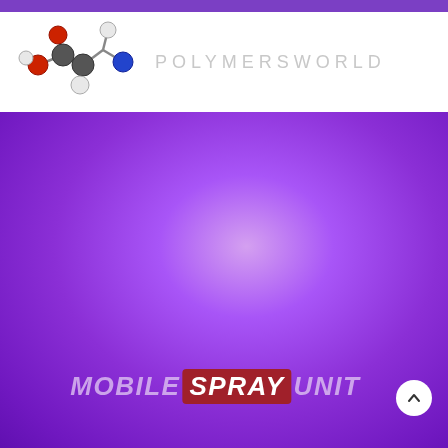[Figure (logo): PolymersWorld logo with molecular structure graphic and text 'POLYMERSWORLD' in light gray on white background]
[Figure (illustration): Purple gradient background section with radial lighter center, occupying the lower two-thirds of the page]
MOBILE SPRAY UNIT
[Figure (other): White circular scroll-to-top button with upward arrow icon, bottom right of purple section]